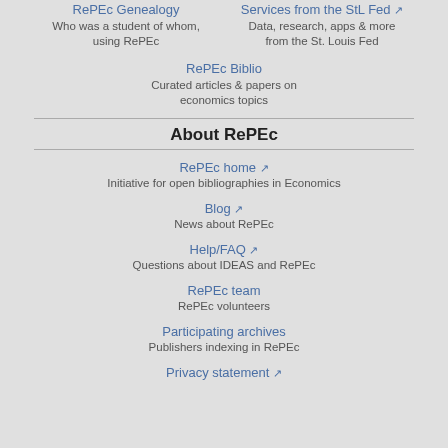RePEc Genealogy
Who was a student of whom, using RePEc
Services from the StL Fed
Data, research, apps & more from the St. Louis Fed
RePEc Biblio
Curated articles & papers on economics topics
About RePEc
RePEc home
Initiative for open bibliographies in Economics
Blog
News about RePEc
Help/FAQ
Questions about IDEAS and RePEc
RePEc team
RePEc volunteers
Participating archives
Publishers indexing in RePEc
Privacy statement